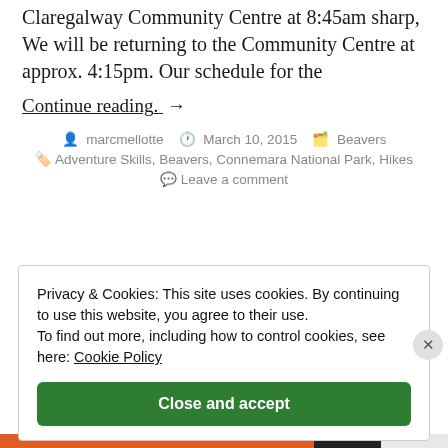Claregalway Community Centre at 8:45am sharp, We will be returning to the Community Centre at approx. 4:15pm. Our schedule for the
Continue reading. →
marcmellotte   March 10, 2015   Beavers
Adventure Skills, Beavers, Connemara National Park, Hikes
Leave a comment
Privacy & Cookies: This site uses cookies. By continuing to use this website, you agree to their use. To find out more, including how to control cookies, see here: Cookie Policy
Close and accept